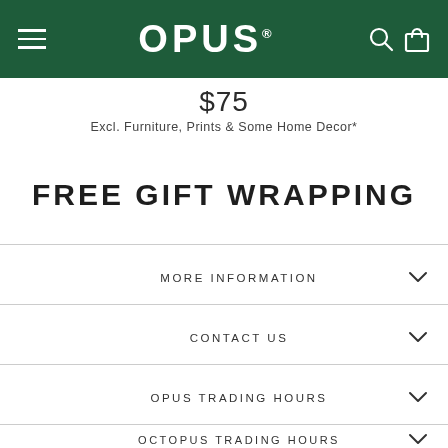OPUS
$75
Excl. Furniture, Prints & Some Home Decor*
FREE GIFT WRAPPING
MORE INFORMATION
CONTACT US
OPUS TRADING HOURS
OCTOPUS TRADING HOURS
JOIN THE OPUS NEWSLETTER